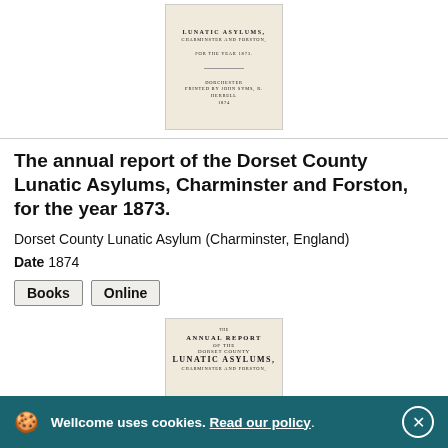[Figure (illustration): Thumbnail image of a book cover: 'Lunatic Asylums, Charminster and Forston, for the year 1873', cream/off-white background with small printed text]
The annual report of the Dorset County Lunatic Asylums, Charminster and Forston, for the year 1873.
Dorset County Lunatic Asylum (Charminster, England)
Date  1874
Books
Online
[Figure (illustration): Thumbnail image of another book cover: 'The Annual Report of the Dorset County Lunatic Asylums, Charminster and Forston', cream background with printed text]
Wellcome uses cookies. Read our policy.